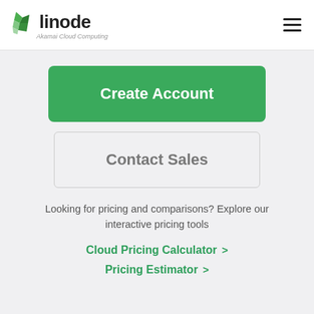linode — Akamai Cloud Computing
Create Account
Contact Sales
Looking for pricing and comparisons? Explore our interactive pricing tools
Cloud Pricing Calculator >
Pricing Estimator >